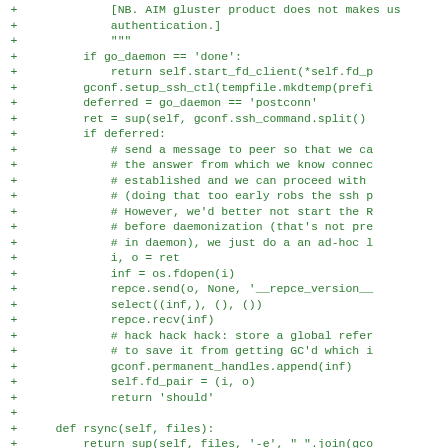[Figure (screenshot): Code diff screenshot showing Python source code lines with '+' markers in green monospace font, showing a method implementation with SSH, daemon, and rsync-related logic.]